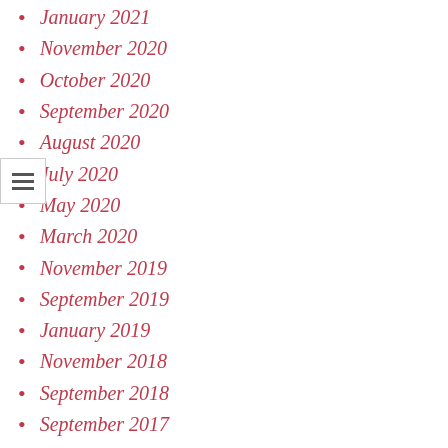January 2021
November 2020
October 2020
September 2020
August 2020
July 2020
May 2020
March 2020
November 2019
September 2019
January 2019
November 2018
September 2018
September 2017
June 2017
April 2017
September 2016